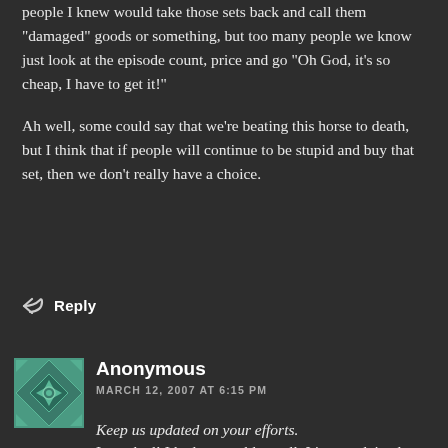people I knew would take those sets back and call them "damaged" goods or something, but too many people we know just look at the episode count, price and go "Oh God, it's so cheap, I have to get it!"

Ah well, some could say that we're beating this horse to death, but I think that if people will continue to be stupid and buy that set, then we don't really have a choice.
Reply
[Figure (illustration): Avatar image for Anonymous commenter - teal/green geometric quilt pattern design]
Anonymous
MARCH 12, 2007 AT 6:15 PM
Keep us updated on your efforts.

It worked! I had no trouble at all. I just explained...